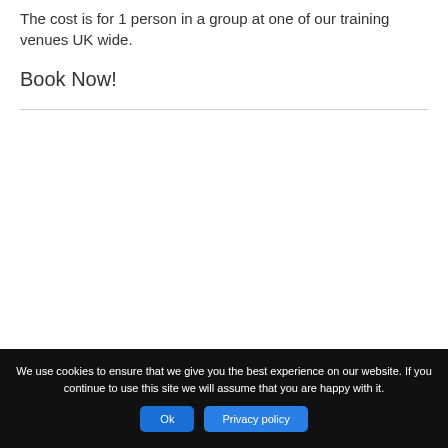The cost is for 1 person in a group at one of our training venues UK wide.
Book Now!
We use cookies to ensure that we give you the best experience on our website. If you continue to use this site we will assume that you are happy with it. Ok Privacy policy